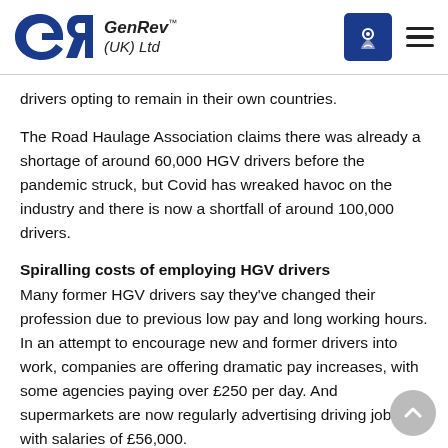GenRev™ (UK) Ltd
drivers opting to remain in their own countries.
The Road Haulage Association claims there was already a shortage of around 60,000 HGV drivers before the pandemic struck, but Covid has wreaked havoc on the industry and there is now a shortfall of around 100,000 drivers.
Spiralling costs of employing HGV drivers
Many former HGV drivers say they've changed their profession due to previous low pay and long working hours. In an attempt to encourage new and former drivers into work, companies are offering dramatic pay increases, with some agencies paying over £250 per day. And supermarkets are now regularly advertising driving jobs with salaries of £56,000.